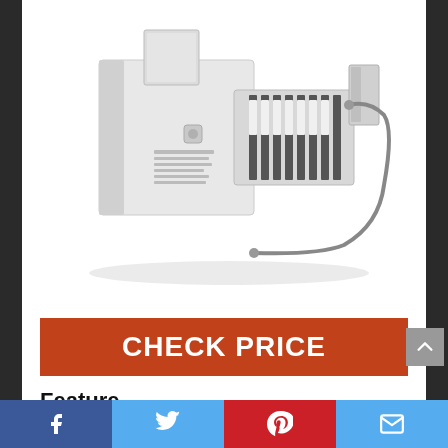[Figure (photo): White refrigerator ice maker unit with metal ice ejector tray and wire shutoff arm]
CHECK PRICE
Feature
This part works with the following
Facebook | Twitter | Pinterest | Email